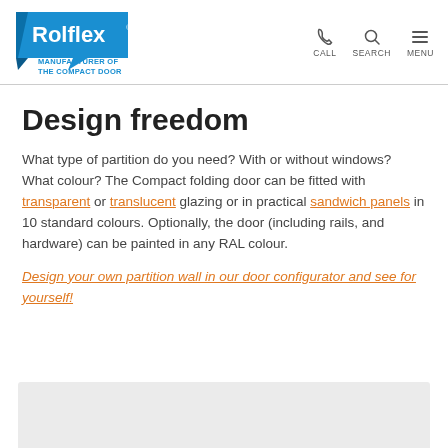Rolflex — MANUFACTURER OF THE COMPACT DOOR | CALL | SEARCH | MENU
Design freedom
What type of partition do you need? With or without windows? What colour? The Compact folding door can be fitted with transparent or translucent glazing or in practical sandwich panels in 10 standard colours. Optionally, the door (including rails, and hardware) can be painted in any RAL colour.
Design your own partition wall in our door configurator and see for yourself!
[Figure (other): Grey/light image area at the bottom of the page, partially visible]